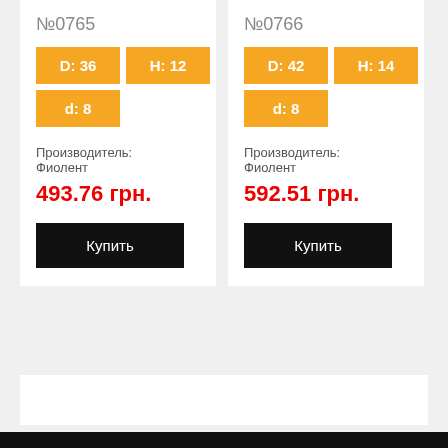№0765
D: 36
H: 12
d: 8
Производитель: Фиолент
493.76 грн.
Купить
№0766
D: 42
H: 14
d: 8
Производитель: Фиолент
592.51 грн.
Купить